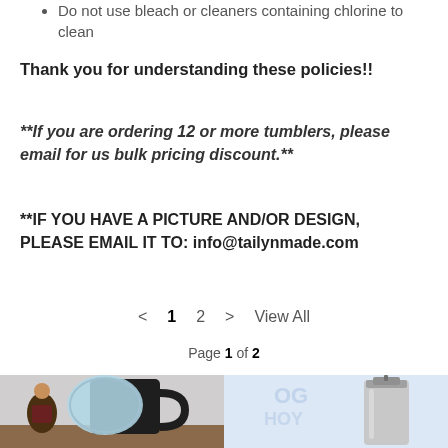Do not use bleach or cleaners containing chlorine to clean
Thank you for understanding these policies!!
**If you are ordering 12 or more tumblers, please email for us bulk pricing discount.**
**IF YOU HAVE A PICTURE AND/OR DESIGN, PLEASE EMAIL IT TO: info@tailynmade.com
< 1 2 > View All
Page 1 of 2
[Figure (photo): Photo of a black mug with a clear lid and a woman standing next to it]
[Figure (photo): Photo of a stainless steel tumbler with a watermark/logo overlay]